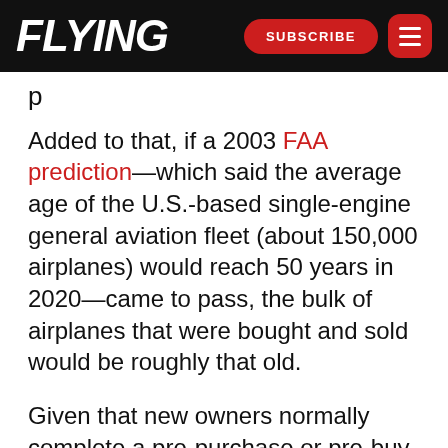FLYING | SUBSCRIBE
p
Added to that, if a 2003 FAA prediction—which said the average age of the U.S.-based single-engine general aviation fleet (about 150,000 airplanes) would reach 50 years in 2020—came to pass, the bulk of airplanes that were bought and sold would be roughly that old.
Given that new owners normally complete a pre-purchase or pre-buy inspection in the process of purchasing an aircraft—usually done through an MRO provider—